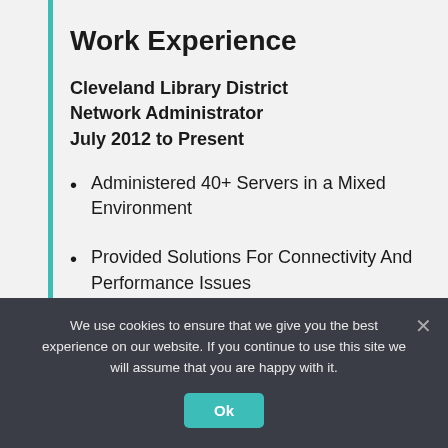Work Experience
Cleveland Library District
Network Administrator
July 2012 to Present
Administered 40+ Servers in a Mixed Environment
Provided Solutions For Connectivity And Performance Issues
Supervised Network Updates
We use cookies to ensure that we give you the best experience on our website. If you continue to use this site we will assume that you are happy with it.